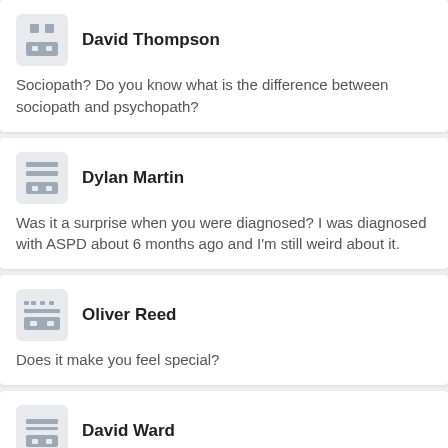David Thompson
Sociopath? Do you know what is the difference between sociopath and psychopath?
Dylan Martin
Was it a surprise when you were diagnosed? I was diagnosed with ASPD about 6 months ago and I'm still weird about it.
Oliver Reed
Does it make you feel special?
David Ward
kude jiveesh